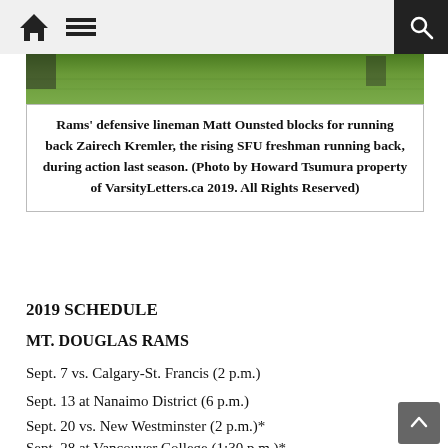Navigation bar with home icon, menu icon, and search icon
[Figure (photo): Cropped green football field grass background strip — top portion of an action photo]
Rams' defensive lineman Matt Ounsted blocks for running back Zairech Kremler, the rising SFU freshman running back, during action last season. (Photo by Howard Tsumura property of VarsityLetters.ca 2019. All Rights Reserved)
2019 SCHEDULE
MT. DOUGLAS RAMS
Sept. 7 vs. Calgary-St. Francis (2 p.m.)
Sept. 13 at Nanaimo District (6 p.m.)
Sept. 20 vs. New Westminster (2 p.m.)*
Sept. 28 at Vancouver College (1:30 p.m.)*